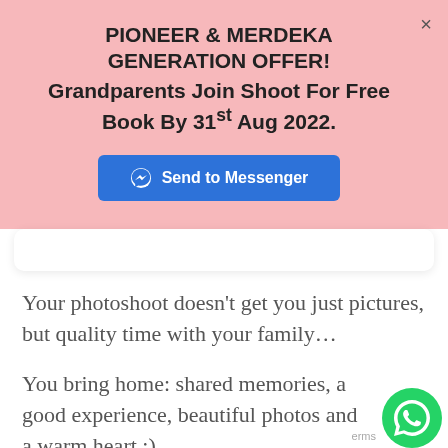PIONEER & MERDEKA GENERATION OFFER! Grandparents Join Shoot For Free Book By 31st Aug 2022.
[Figure (screenshot): Send to Messenger button (blue rounded rectangle) with Messenger lightning bolt icon]
[Figure (screenshot): White card partial UI element below the pink banner]
Your photoshoot doesn't get you just pictures, but quality time with your family…
You bring home: shared memories, a good experience, beautiful photos and a warm heart :)
[Figure (logo): WhatsApp green circle icon in lower right corner]